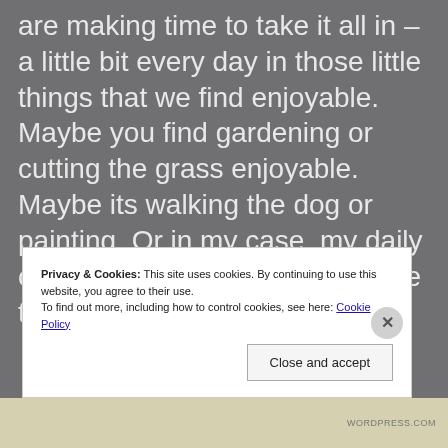are making time to take it all in – a little bit every day in those little things that we find enjoyable. Maybe you find gardening or cutting the grass enjoyable. Maybe its walking the dog or painting. Or in my case, my daily commute – riding my motorcycle to work and back
Privacy & Cookies: This site uses cookies. By continuing to use this website, you agree to their use.
To find out more, including how to control cookies, see here: Cookie Policy
Close and accept